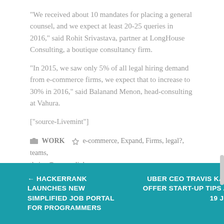“We received about 10 mandates for placing a general counsel, and we expect at least 20-25 queries in 2016,” said Rohit Srivastava, partner at LongHouse Consulting, a boutique consultancy firm.
“In 2015, we saw only 5% of all legal hiring demand from e-commerce firms, we expect that to increase to 30% in 2016,” said Balanand Menon, head-consulting at Vahura.
[“source-Livemint”]
WORK   e-commerce, Expand, Firms, legal?, teams, their   permalink
← HACKERRANK LAUNCHES NEW SIMPLIFIED JOB PORTAL FOR PROGRAMMERS
UBER CEO TRAVIS KALANICK TO OFFER START-UP TIPS AT IIT-B ON 19 JANUARY →